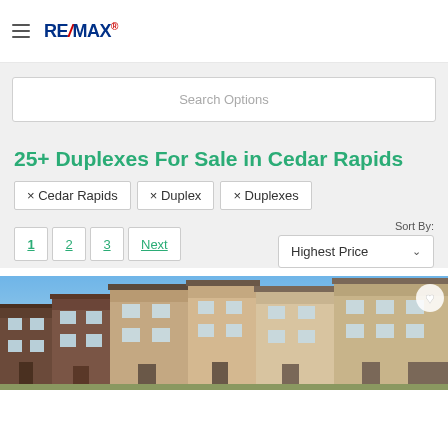RE/MAX
Search Options
25+ Duplexes For Sale in Cedar Rapids
× Cedar Rapids
× Duplex
× Duplexes
Sort By: Highest Price
1  2  3  Next
[Figure (photo): Row of modern duplex/multi-unit residential buildings with brick and siding exterior under blue sky]